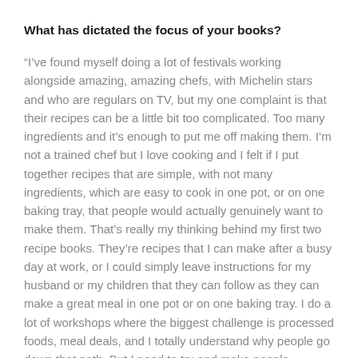What has dictated the focus of your books?
“I’ve found myself doing a lot of festivals working alongside amazing, amazing chefs, with Michelin stars and who are regulars on TV, but my one complaint is that their recipes can be a little bit too complicated. Too many ingredients and it’s enough to put me off making them. I’m not a trained chef but I love cooking and I felt if I put together recipes that are simple, with not many ingredients, which are easy to cook in one pot, or on one baking tray, that people would actually genuinely want to make them. That’s really my thinking behind my first two recipe books. They’re recipes that I can make after a busy day at work, or I could simply leave instructions for my husband or my children that they can follow as they can make a great meal in one pot or on one baking tray. I do a lot of workshops where the biggest challenge is processed foods, meal deals, and I totally understand why people go down that path. But I need to try and make people understand that there is a simpler and